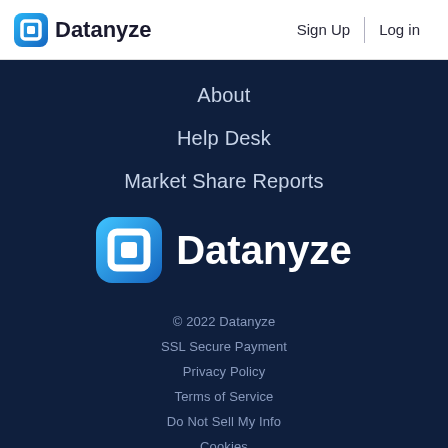Datanyze | Sign Up | Log in
About
Help Desk
Market Share Reports
[Figure (logo): Datanyze logo with blue rounded-square icon and white text 'Datanyze' on dark background]
© 2022 Datanyze
SSL Secure Payment
Privacy Policy
Terms of Service
Do Not Sell My Info
Cookies